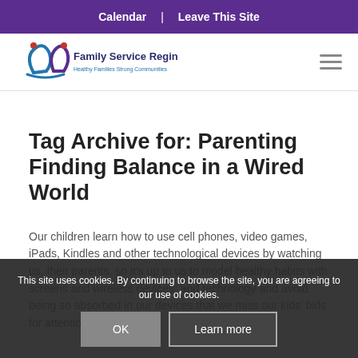Calendar | Leave This Site
[Figure (logo): Family Service Regina logo with stylized figures and tagline 'Healthy Families Strong Communities']
Tag Archive for: Parenting Finding Balance in a Wired World
Our children learn how to use cell phones, video games, iPads, Kindles and other technological devices by watching us, their parents, so it's up to us to model healthy habits with screens and wireless devices, and technology and avoid being so absorbed in our devices that we miss our kids' bids for attention
This site uses cookies. By continuing to browse the site, you are agreeing to our use of cookies.